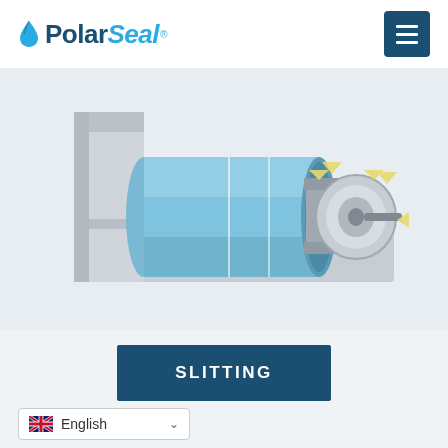PolarSeal
[Figure (engineering-diagram): 3D rendered engineering diagram of a slitting roll assembly mounted in a grey bracket/housing. A blue cylindrical roller is shown horizontally with slitting mechanism on the right side including a circular cutter head with yellow arrows indicating compression/movement directions.]
SLITTING
English